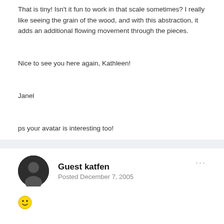That is tiny! Isn't it fun to work in that scale sometimes? I really like seeing the grain of the wood, and with this abstraction, it adds an additional flowing movement through the pieces.


Nice to see you here again, Kathleen!


Janel


ps your avatar is interesting too!
Guest katfen
Posted December 7, 2005
[Figure (illustration): Smiley face emoji icon]